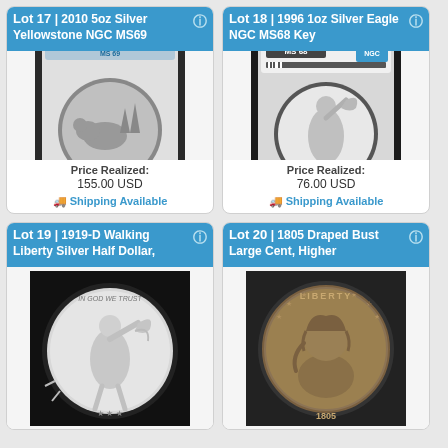Lot 17 | 2010 5oz Silver Yellowstone NGC MS69
[Figure (photo): NGC slabbed coin - 2010 5oz Silver Yellowstone quarter in MS69 holder]
Price Realized: 155.00 USD
Shipping Available
Lot 18 | 1996 1oz Silver Eagle NGC MS68 Key
[Figure (photo): NGC slabbed coin - 1996 1oz Silver Eagle in MS68 holder labeled Key]
Price Realized: 76.00 USD
Shipping Available
Lot 19 | 1919-D Walking Liberty Silver Half Dollar,
[Figure (photo): 1919-D Walking Liberty Silver Half Dollar coin image]
Lot 20 | 1805 Draped Bust Large Cent, Higher
[Figure (photo): 1805 Draped Bust Large Cent coin image]